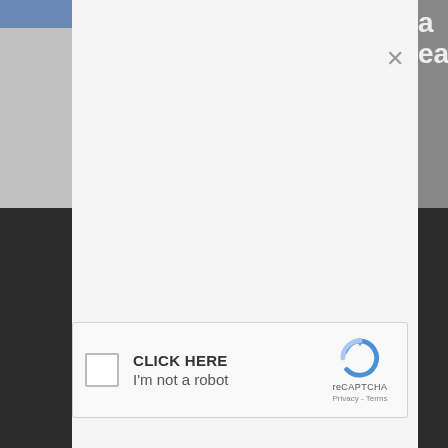[Figure (screenshot): reCAPTCHA modal dialog overlaid on a webpage. The modal has a white/light gray background with a close (×) button in the upper right. It contains a reCAPTCHA widget with a checkbox, 'CLICK HERE' and 'I'm not a robot' text, the reCAPTCHA logo, 'reCAPTCHA' label, and 'Privacy - Terms' links. Behind the modal are partial webpage images and truncated text snippets.]
CLICK HERE
I'm not a robot
reCAPTCHA
Privacy - Terms
Was
mil
wat
you
the
cov
lath
exp
th
er
is
Buy
out